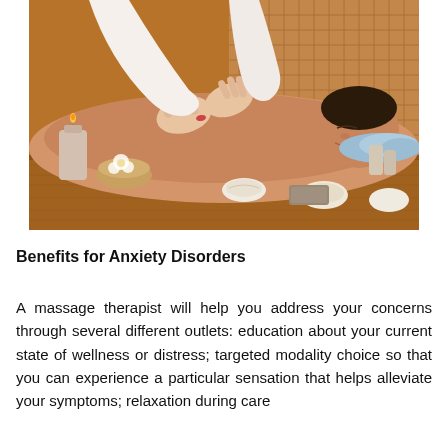[Figure (photo): A massage therapist performing a back massage on a man lying face down on a massage table. The scene includes candles, decorative bowls, and spa accessories on a wooden surface in a warm-toned spa setting.]
Benefits for Anxiety Disorders
A massage therapist will help you address your concerns through several different outlets: education about your current state of wellness or distress; targeted modality choice so that you can experience a particular sensation that helps alleviate your symptoms; relaxation during care